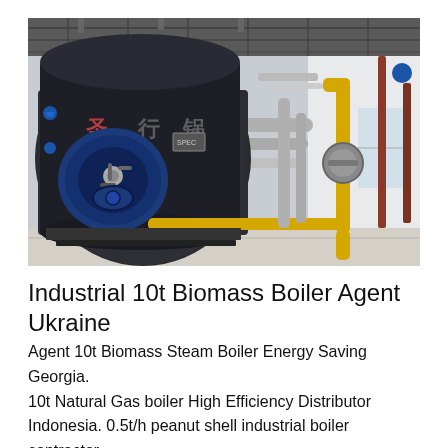[Figure (photo): Industrial boiler room showing a large dark cylindrical biomass boiler with blue burner front and yellow gas pipes, inside a white industrial facility.]
Industrial 10t Biomass Boiler Agent Ukraine
Agent 10t Biomass Steam Boiler Energy Saving Georgia. 10t Natural Gas boiler High Efficiency Distributor Indonesia. 0.5t/h peanut shell industrial boiler contractor Steam May 31 2019 · Industrial biomass boiler is an gre